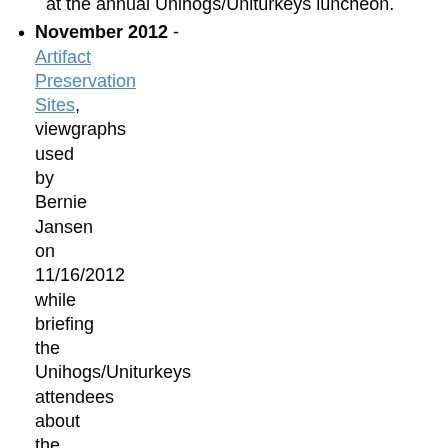at the annual Unihogs/Uniturkeys luncheon.
November 2012 - Artifact Preservation Sites, viewgraphs used by Bernie Jansen on 11/16/2012 while briefing the Unihogs/Uniturkeys attendees about the destinations of the artifacts and documents collected by the